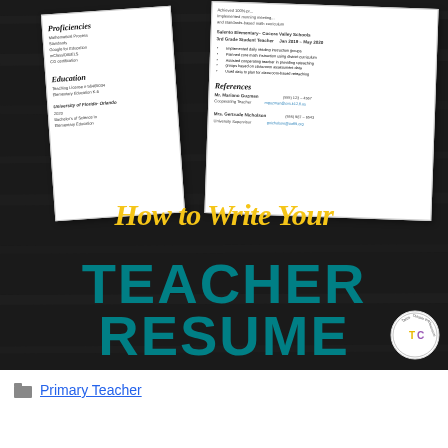[Figure (illustration): Promotional graphic showing a teacher resume document on a dark wood background with text overlay: 'How to Write Your TEACHER RESUME' in yellow script and teal bold letters, with a 'Tales Outside the Classroom TC' logo badge in the bottom right corner.]
Primary Teacher